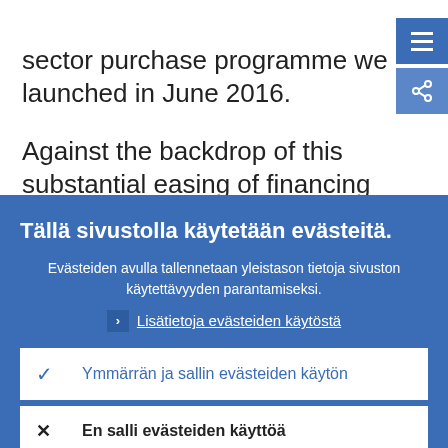sector purchase programme we launched in June 2016.
Against the backdrop of this substantial easing of financing conditions, domestic demand has become the mainstay of euro
Tällä sivustolla käytetään evästeitä.
Evästeiden avulla tallennetaan yleistason tietoja sivuston käytettävyyden parantamiseksi.
› Lisätietoja evästeiden käytöstä
✓ Ymmärrän ja sallin evästeiden käytön
✕ En salli evästeiden käyttöä